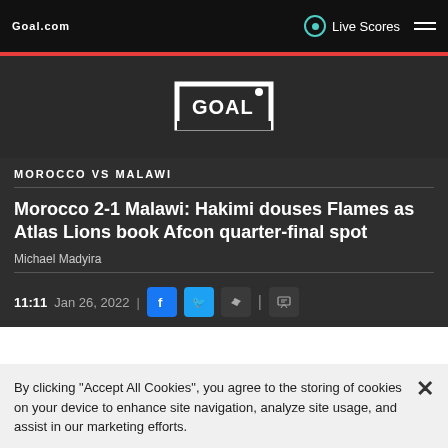Goal.com | Live Scores
[Figure (logo): Goal.com logo - white text inside goal-post frame shape on dark background]
MOROCCO VS MALAWI
Morocco 2-1 Malawi: Hakimi douses Flames as Atlas Lions book Afcon quarter-final spot
Michael Madyira
11:11 Jan 26, 2022
By clicking "Accept All Cookies", you agree to the storing of cookies on your device to enhance site navigation, analyze site usage, and assist in our marketing efforts.